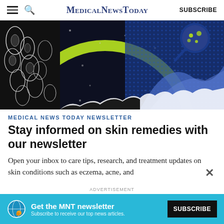MedicalNewsToday  SUBSCRIBE
[Figure (illustration): Abstract medical/science illustration with dark background, green circular arc, microscopic cell imagery on left in black and white, blue geometric shapes and a magnifying glass with green dots on right]
MEDICAL NEWS TODAY NEWSLETTER
Stay informed on skin remedies with our newsletter
Open your inbox to care tips, research, and treatment updates on skin conditions such as eczema, acne, and
ADVERTISEMENT
Get the MNT newsletter  Subscribe to receive our top news articles.  SUBSCRIBE